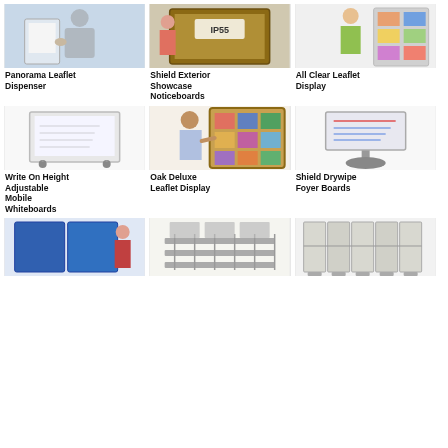[Figure (photo): Person holding a leaflet dispenser with blue background]
Panorama Leaflet Dispenser
[Figure (photo): Shield Exterior Showcase Noticeboard with IP55 label]
Shield Exterior Showcase Noticeboards
[Figure (photo): Person in green top next to All Clear Leaflet Display]
All Clear Leaflet Display
[Figure (photo): White height-adjustable mobile whiteboard on wheels]
Write On Height Adjustable Mobile Whiteboards
[Figure (photo): Person next to Oak Deluxe Leaflet Display with magazines]
Oak Deluxe Leaflet Display
[Figure (photo): Shield Drywipe Foyer Board on stand]
Shield Drywipe Foyer Boards
[Figure (photo): Person next to folding noticeboard display]
[Figure (photo): Wire rack display stand]
[Figure (photo): Folding room divider panels]